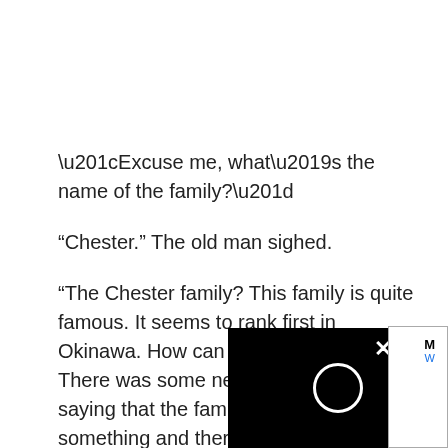“Excuse me, what’s the name of the family?”
“Chester.” The old man sighed.
“The Chester family? This family is quite famous. It seems to rank first in Okinawa. How can it be desolate?” There was some news a few days ago, saying that the family was looking for something and there was a huge reward. It was something important that they were looking for.
“Sigh…it has become desolate. As lon management of that douchebag, it’ll b When he said so, the old man clenche looked furious.
[Figure (screenshot): Black overlay with a circular loading spinner and a close (x) button in the bottom right corner of the page]